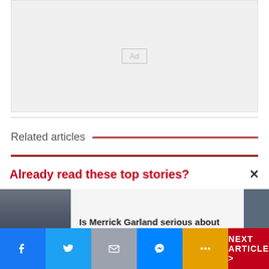[Figure (other): Gray advertisement placeholder box with 'Ad' label in center]
Related articles
Already read these top stories?
Is Merrick Garland serious about Donald Trump?
NEXT ARTICLE >